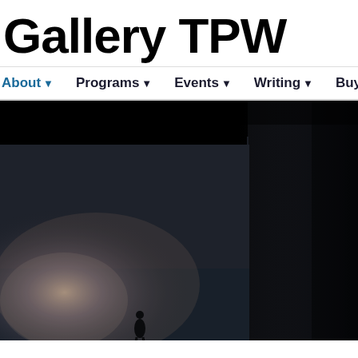Gallery TPW
About ▾   Programs ▾   Events ▾   Writing ▾   Buy Artworks
[Figure (photo): Dark gallery interior photograph showing a dimly lit room with dark walls and ceiling, soft glowing light in the lower left corner, and what appears to be a small sculptural figure at the bottom center of the frame.]